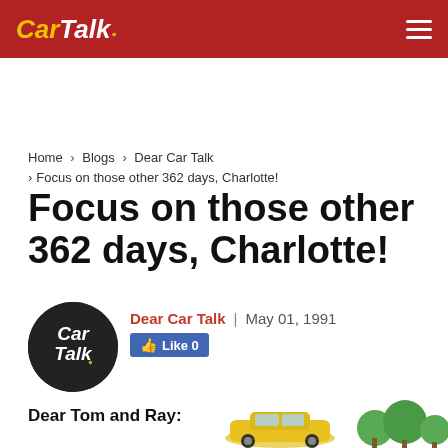Car Talk | Navigation Menu
Home > Blogs > Dear Car Talk > Focus on those other 362 days, Charlotte!
Focus on those other 362 days, Charlotte!
Dear Car Talk | May 01, 1991 | Like 0
[Figure (logo): Car Talk circular logo in black with white italic text]
Dear Tom and Ray:
[Figure (illustration): Cartoon illustration of a yellow car with trees, partially visible at bottom of page]